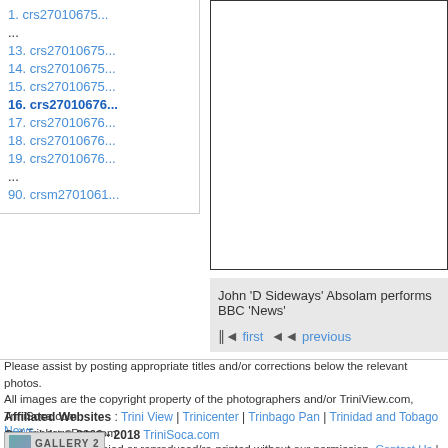1. crs27010675...
...
13. crs27010675...
14. crs27010675...
15. crs27010675...
16. crs27010676...
17. crs27010676...
18. crs27010676...
19. crs27010676...
...
90. crsm2701061...
[Figure (other): Right panel image area (blank/white content region)]
John 'D Sideways' Absolam performs BBC 'News'
first  previous
Please assist by posting appropriate titles and/or corrections below the relevant photos.
All images are the copyright property of the photographers and/or TriniView.com, TriniSoca.com
and TrinbagoPan.com
and must not be copied or reproduced/re-printed without our permission. Contact Us | Image Reproduction Policy
Affiliated Websites : Trini View | Trinicenter | Trinbago Pan | Trinidad and Tobago News
Copyright © 2000 - 2018 TriniSoca.com
[Figure (logo): Gallery 2 badge logo]